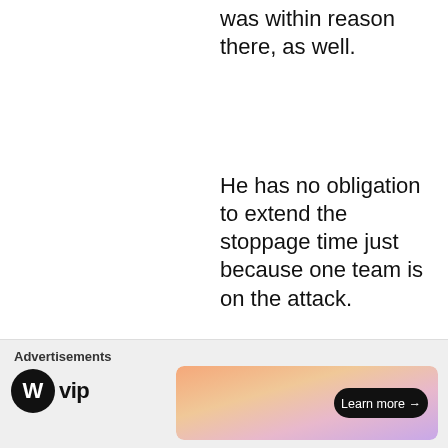was within reason there, as well.
He has no obligation to extend the stoppage time just because one team is on the attack.
Like
Reply
Advertisements
[Figure (logo): WordPress VIP logo with circular WordPress icon and 'vip' text]
[Figure (illustration): Advertisement banner with gradient background (orange to pink to purple) and 'Learn more →' button]